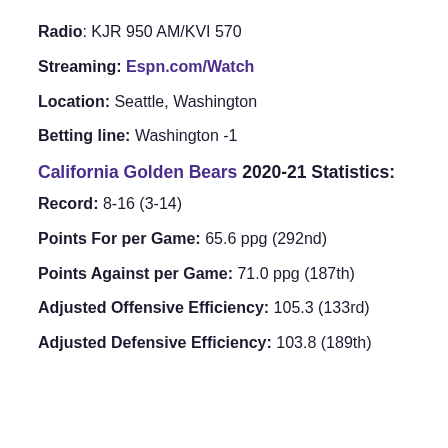Radio: KJR 950 AM/KVI 570
Streaming: Espn.com/Watch
Location: Seattle, Washington
Betting line: Washington -1
California Golden Bears 2020-21 Statistics:
Record: 8-16 (3-14)
Points For per Game: 65.6 ppg (292nd)
Points Against per Game: 71.0 ppg (187th)
Adjusted Offensive Efficiency: 105.3 (133rd)
Adjusted Defensive Efficiency: 103.8 (189th)